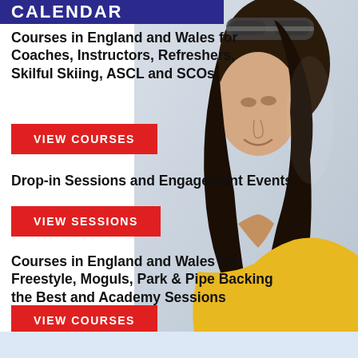CALENDAR
Courses in England and Wales for Coaches, Instructors, Refreshers, Skilful Skiing, ASCL and SCOs
VIEW COURSES
Drop-in Sessions and Engagement Events
VIEW SESSIONS
Courses in England and Wales for Freestyle, Moguls, Park & Pipe Backing the Best and Academy Sessions
VIEW COURSES
[Figure (photo): Side profile of a person with long dark curly hair wearing ski goggles on head and a yellow jacket, looking upward and smiling against a light background.]